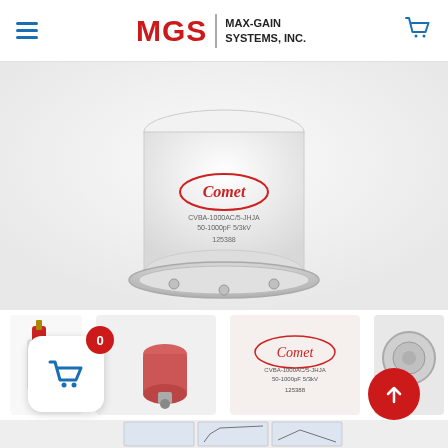MGS MAX-GAIN SYSTEMS, INC.
[Figure (photo): Comet brand vacuum variable capacitor CVBA-1000AC/5-JHJA, 50-1000pF 5/3kV, serial 125388. Large white ceramic cylindrical capacitor with silver base and mounting flange, Comet logo in red oval on body.]
[Figure (photo): Four thumbnail images: small Comet capacitor with red top; disassembled pink/red ceramic cylindrical element with connector; Comet label showing CVBA-1000AC/5-JHJA 50-1000pF 5/3kV 125388; silver top disc/contact of the capacitor. Below these are three engineering drawings showing mechanical cross-section dimensions, frequency vs capacitance chart, and capacitance plot.]